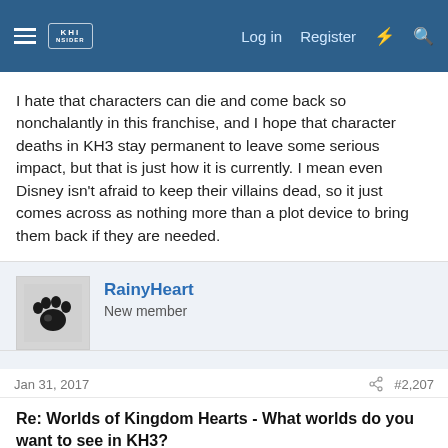KHInsider forum navigation bar with Log in, Register, and search icons
I hate that characters can die and come back so nonchalantly in this franchise, and I hope that character deaths in KH3 stay permanent to leave some serious impact, but that is just how it is currently. I mean even Disney isn't afraid to keep their villains dead, so it just comes across as nothing more than a plot device to bring them back if they are needed.
RainyHeart
New member
Jan 31, 2017
#2,207
Re: Worlds of Kingdom Hearts - What worlds do you want to see in KH3?
MegaWallflower said: